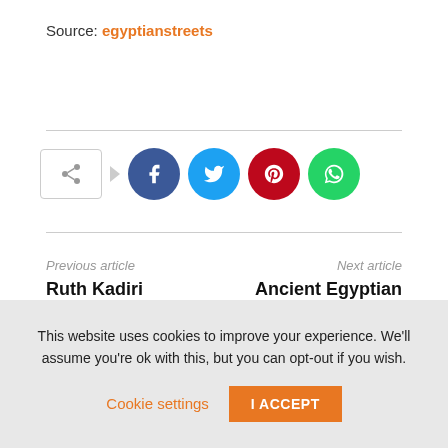Source: egyptianstreets
[Figure (infographic): Social share bar with share icon button, arrow, and four social media circles: Facebook (blue), Twitter (cyan), Pinterest (red), WhatsApp (green)]
Previous article
Ruth Kadiri celebrates her husband's birthday
Next article
Ancient Egyptian History: Best College Research Topics
This website uses cookies to improve your experience. We'll assume you're ok with this, but you can opt-out if you wish. Cookie settings | I ACCEPT